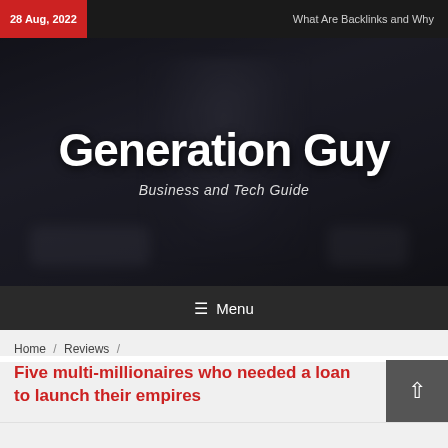28 Aug, 2022
What Are Backlinks and Why
[Figure (illustration): Hero banner with dark background image of a hooded figure with a car, overlaid with the site branding]
Generation Guy
Business and Tech Guide
☰ Menu
Home / Reviews /
Five multi-millionaires who needed a loan to launch their empires